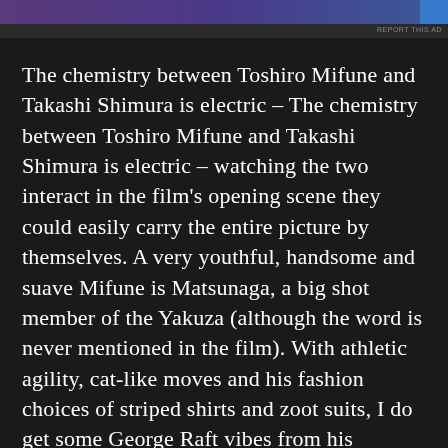[Figure (other): Advertisement banner at the top of the page with a purple/blue gradient bar and a blue corner element with 'REPORT THIS AD' text]
The chemistry between Toshiro Mifune and Takashi Shimura is electric – The chemistry between Toshiro Mifune and Takashi Shimura is electric – watching the two interact in the film's opening scene they could easily carry the entire picture by themselves. A very youthful, handsome and suave Mifune is Matsunaga, a big shot member of the Yakuza (although the word is never mentioned in the film). With athletic agility, cat-like moves and his fashion choices of striped shirts and zoot suits, I do get some George Raft vibes from his performance. He shares a fascinating relationship with the brash, ill-tempered but dedicated Dr Sanada (Shimura) as he attempts to cure him of